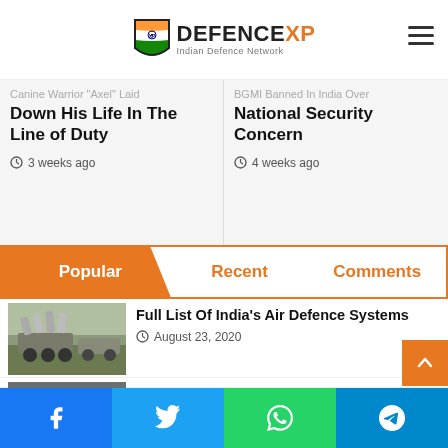DEFENCEXP - Indian Defence Network
Canine Warrior 'Axel' Laid Down His Life In The Line of Duty
3 weeks ago
BGM Banned In India Over National Security Concern
4 weeks ago
Popular | Recent | Comments
[Figure (photo): Military missile launcher vehicles on a field]
Full List Of India’s Air Defence Systems
August 23, 2020
[Figure (photo): Soldiers in red berets marching in formation]
Salary & Allowances Of Para Special Forces
July 23, 2021
Facebook | Twitter | WhatsApp | Telegram